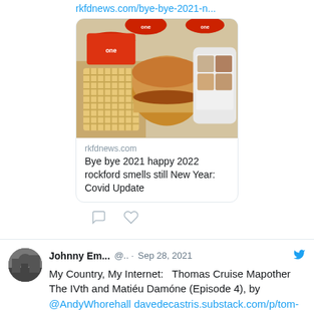rkfdnews.com/bye-bye-2021-n...
[Figure (photo): Chick-fil-A food items including waffle fries, a chicken sandwich, drinks and a phone showing the app]
rkfdnews.com
Bye bye 2021 happy 2022 rockford smells still New Year: Covid Update
Johnny Em... @.. · Sep 28, 2021
My Country, My Internet:  Thomas Cruise Mapother The IVth and Matiéu Damóne (Episode 4), by @AndyWhorehall davedecastris.substack.com/p/tom-cruise-m...